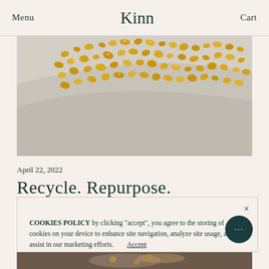Menu  Kinn  Cart
[Figure (photo): Close-up photograph of gold nuggets/granules scattered on a light gray tray or plate surface]
April 22, 2022
Recycle. Repurpose. Reimagine.
COOKIES POLICY by clicking "accept", you agree to the storing of cookies on your device to enhance site navigation, analyze site usage, and assist in our marketing efforts.  Accept
[Figure (photo): Partial view of a person wearing gold jewelry, visible at the bottom of the page]